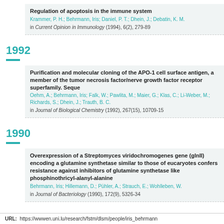Regulation of apoptosis in the immune system
Krammer, P. H.; Behrmann, Iris; Daniel, P. T.; Dhein, J.; Debatin, K. M.
in Current Opinion in Immunology (1994), 6(2), 279-89
1992
Purification and molecular cloning of the APO-1 cell surface antigen, a member of the tumor necrosis factor/nerve growth factor receptor superfamily. Sequence identity with the Fas antigen.
Oehm, A.; Behrmann, Iris; Falk, W.; Pawlita, M.; Maier, G.; Klas, C.; Li-Weber, M.; Richards, S.; Dhein, J.; Trauth, B. C.
in Journal of Biological Chemistry (1992), 267(15), 10709-15
1990
Overexpression of a Streptomyces viridochromogenes gene (glnII) encoding a glutamine synthetase similar to those of eucaryotes confers resistance against inhibitors of glutamine synthetase like phosphinothricyl-alanyl-alanine
Behrmann, Iris; Hillemann, D.; Pühler, A.; Strauch, E.; Wohlleben, W.
in Journal of Bacteriology (1990), 172(9), 5326-34
URL: https://wwwen.uni.lu/research/fstm/dlsm/people/iris_behrmann